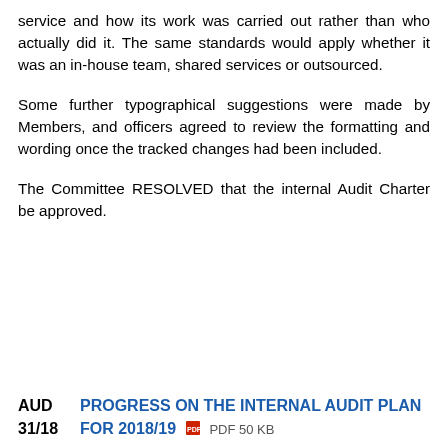service and how its work was carried out rather than who actually did it. The same standards would apply whether it was an in-house team, shared services or outsourced.
Some further typographical suggestions were made by Members, and officers agreed to review the formatting and wording once the tracked changes had been included.
The Committee RESOLVED that the internal Audit Charter be approved.
AUD 31/18 PROGRESS ON THE INTERNAL AUDIT PLAN FOR 2018/19  PDF 50 KB